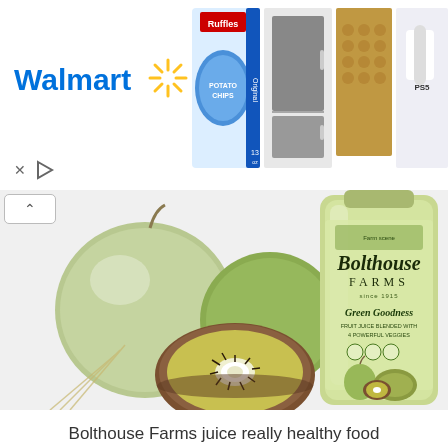[Figure (screenshot): Walmart advertisement banner showing logo and product images including Ruffles chips, a mini refrigerator, a beaded car seat cover, and a PlayStation 5]
[Figure (photo): Bolthouse Farms Green Goodness juice bottle with kiwi and apple fruits arranged in front, on a white background]
Bolthouse Farms juice really healthy food